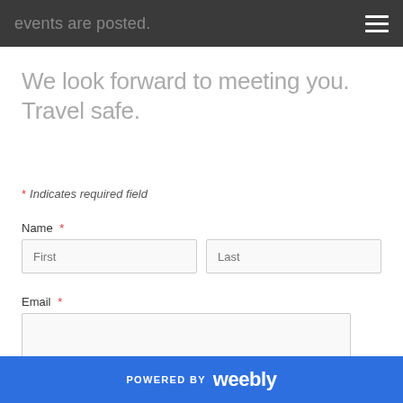events are posted.
We look forward to meeting you. Travel safe.
* Indicates required field
Name *
Email *
POWERED BY weebly